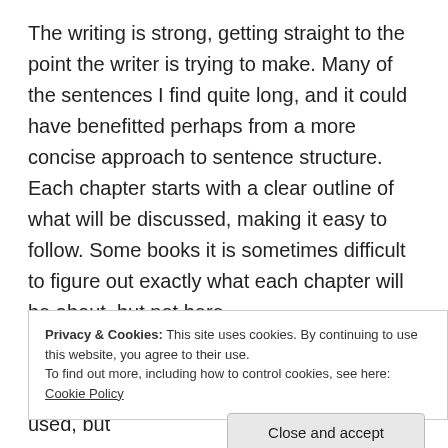The writing is strong, getting straight to the point the writer is trying to make. Many of the sentences I find quite long, and it could have benefitted perhaps from a more concise approach to sentence structure. Each chapter starts with a clear outline of what will be discussed, making it easy to follow. Some books it is sometimes difficult to figure out exactly what each chapter will be about, but not here.
The footnotes are well-done in the accepted academic style, but it feels like the same sources are used on
Privacy & Cookies: This site uses cookies. By continuing to use this website, you agree to their use.
To find out more, including how to control cookies, see here: Cookie Policy
Close and accept
primary sources. There are a few images used, but